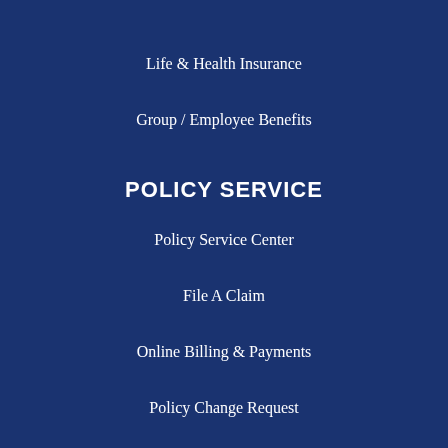Life & Health Insurance
Group / Employee Benefits
POLICY SERVICE
Policy Service Center
File A Claim
Online Billing & Payments
Policy Change Request